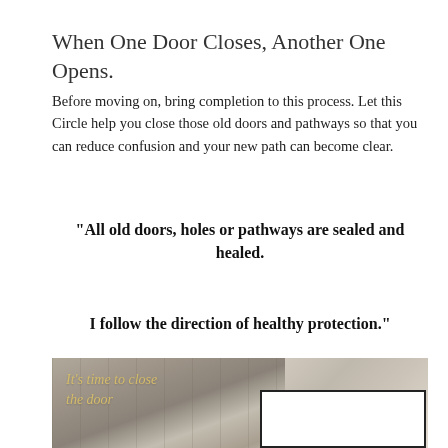When One Door Closes, Another One Opens.
Before moving on, bring completion to this process. Let this Circle help you close those old doors and pathways so that you can reduce confusion and your new path can become clear.
“All old doors, holes or pathways are sealed and healed.

I follow the direction of healthy protection.”
[Figure (photo): Photo of a rustic wooden door with stone wall. Overlaid italic text reads 'It’s time to close the door' in golden/yellow color. A white box with black border appears at the bottom right of the image.]